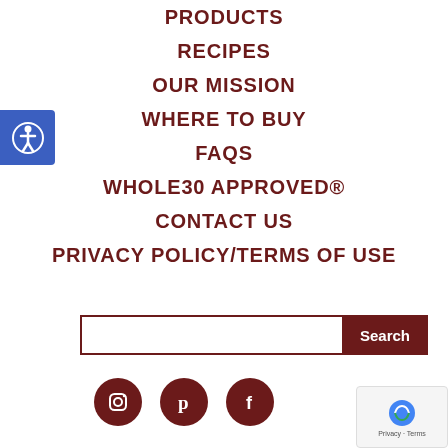PRODUCTS
RECIPES
OUR MISSION
WHERE TO BUY
FAQS
WHOLE30 APPROVED®
CONTACT US
PRIVACY POLICY/TERMS OF USE
[Figure (other): Accessibility icon button - blue square with wheelchair/person icon]
[Figure (other): Search bar with Search button]
[Figure (other): Social media icons: Instagram, Pinterest, Facebook circles in dark red]
[Figure (other): reCAPTCHA badge - Privacy Terms]